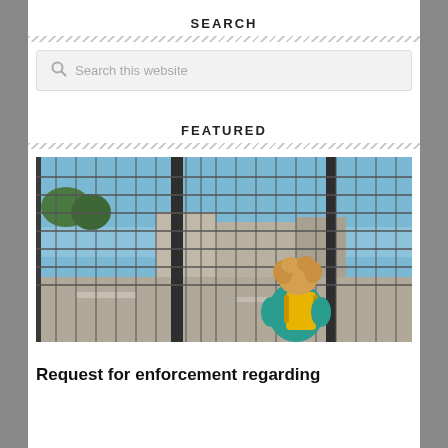SEARCH
[Figure (screenshot): Search input box with magnifying glass icon and placeholder text 'Search this website']
FEATURED
[Figure (photo): A person with blonde curly hair and a yellow backpack wearing a teal/green top, viewed from behind, standing in front of a metal security fence/gate looking into an industrial or commercial area with buildings and vehicles visible beyond the fence.]
Request for enforcement regarding